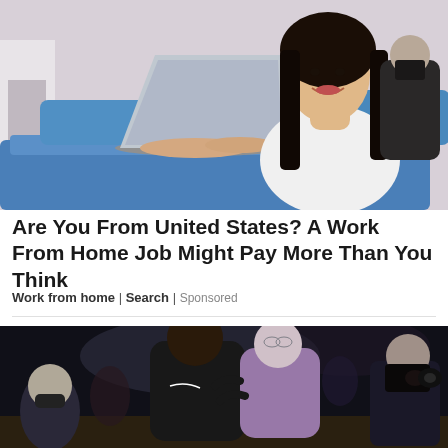[Figure (photo): Young woman with long dark hair smiling, sitting on a blue tufted sofa using a silver laptop, light purple/gray background with a white fireplace mantle visible on the left]
Are You From United States? A Work From Home Job Might Pay More Than You Think
Work from home | Search | Sponsored
[Figure (photo): Basketball game action scene with two players in dark and light purple jerseys fighting for position, a masked spectator on the left, and a photographer with camera on the right, dark arena background]